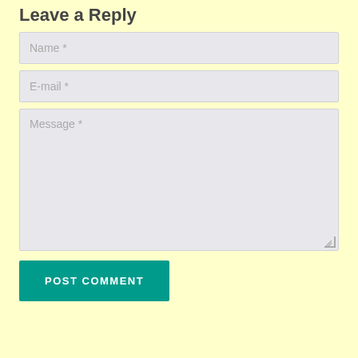Leave a Reply
Name *
E-mail *
Message *
POST COMMENT